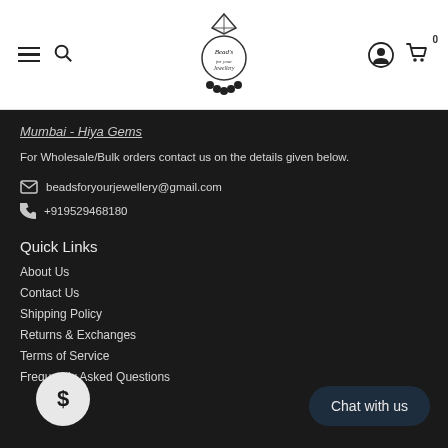Beads for your Jewellery - navigation header with menu, search, logo, account, and cart icons
Mumbai - Hiya Gems
For Wholesale/Bulk orders contact us on the details given below.
beadsforyourjewellery@gmail.com
+919529468180
Quick Links
About Us
Contact Us
Shipping Policy
Returns & Exchanges
Terms of Service
Frequently Asked Questions